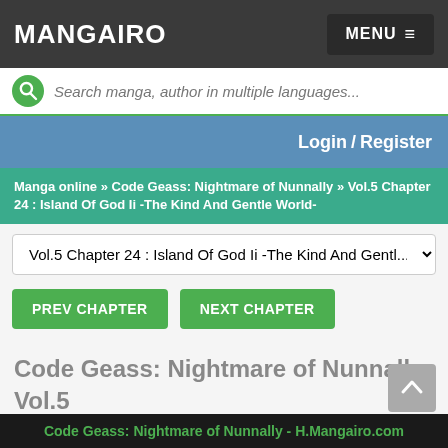MANGAIRO  MENU
Search manga, author in multiple languages...
Login / Register
Manga online » Code Geass: Nightmare of Nunnally » Vol.5 Chapter 24 : Island Of God Ii -The Kind And Gentle World-
Vol.5 Chapter 24 : Island Of God Ii -The Kind And Gentl...
PREV CHAPTER
NEXT CHAPTER
Code Geass: Nightmare of Nunnally Vol.5 Chapter 24 : Island Of God Ii -The Kind And Gentle World-
Code Geass: Nightmare of Nunnally - H.Mangairo.com